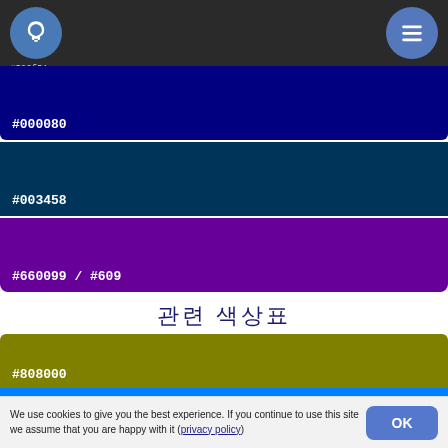#392f31 header with bulb icon and menu icon
[Figure (infographic): Dark navy blue color swatch labeled #000080]
[Figure (infographic): Dark teal color swatch labeled #003458]
[Figure (infographic): Purple color swatch labeled #660099 / #609]
관련 색상표
[Figure (infographic): Olive/dark yellow color swatch labeled #808000]
[Figure (infographic): Bright blue color swatch labeled #0080ff]
[Figure (infographic): Partially visible teal/cyan color swatch at bottom]
We use cookies to give you the best experience. If you continue to use this site we assume that you are happy with it (privacy policy)